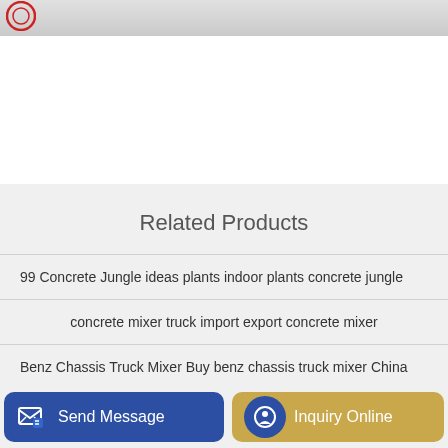[Figure (logo): Red circular logo partially visible in top-left corner of banner]
Related Products
99 Concrete Jungle ideas plants indoor plants concrete jungle
concrete mixer truck import export concrete mixer
Benz Chassis Truck Mixer Buy benz chassis truck mixer China